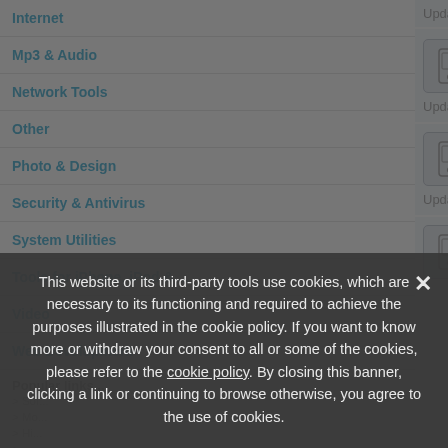Internet
Mp3 & Audio
Network Tools
Other
Photo & Design
Security & Antivirus
System Utilities
Tools for iPhone, iPod & ...
Video
Web Development
Popular links...
[Figure (screenshot): App listing entry: Biorythm 3.1.2 Free to try, Updated: March 20th 2006, with mobile phone icon]
[Figure (screenshot): App listing entry: AGLAYA Call Filter 1.0 Free to try, Updated: March 20th 2006, with mobile phone icon]
[Figure (screenshot): App listing entry: PanoMan - Automatic Panorama... with mobile phone icon]
This website or its third-party tools use cookies, which are necessary to its functioning and required to achieve the purposes illustrated in the cookie policy. If you want to know more or withdraw your consent to all or some of the cookies, please refer to the cookie policy. By closing this banner, clicking a link or continuing to browse otherwise, you agree to the use of cookies.